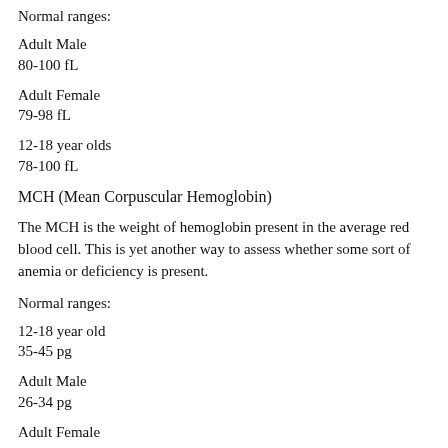Normal ranges:
Adult Male
80-100 fL
Adult Female
79-98 fL
12-18 year olds
78-100 fL
MCH (Mean Corpuscular Hemoglobin)
The MCH is the weight of hemoglobin present in the average red blood cell. This is yet another way to assess whether some sort of anemia or deficiency is present.
Normal ranges:
12-18 year old
35-45 pg
Adult Male
26-34 pg
Adult Female